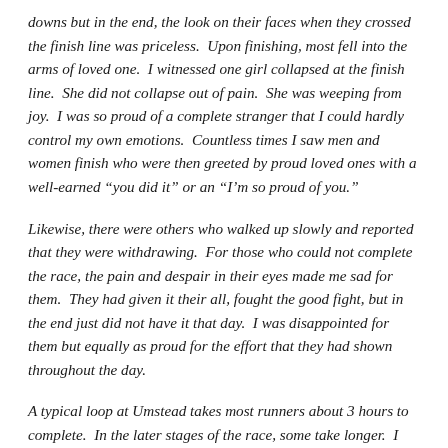downs but in the end, the look on their faces when they crossed the finish line was priceless.  Upon finishing, most fell into the arms of loved one.  I witnessed one girl collapsed at the finish line.  She did not collapse out of pain.  She was weeping from joy.  I was so proud of a complete stranger that I could hardly control my own emotions.  Countless times I saw men and women finish who were then greeted by proud loved ones with a well-earned “you did it” or an “I’m so proud of you.”
Likewise, there were others who walked up slowly and reported that they were withdrawing.  For those who could not complete the race, the pain and despair in their eyes made me sad for them.  They had given it their all, fought the good fight, but in the end just did not have it that day.  I was disappointed for them but equally as proud for the effort that they had shown throughout the day.
A typical loop at Umstead takes most runners about 3 hours to complete.  In the later stages of the race, some take longer.  I